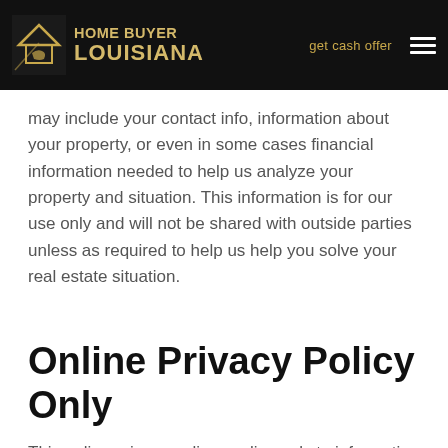Home Buyer Louisiana | get cash offer
may include your contact info, information about your property, or even in some cases financial information needed to help us analyze your property and situation. This information is for our use only and will not be shared with outside parties unless as required to help us help you solve your real estate situation.
Online Privacy Policy Only
This online privacy policy applies only to information collected through our website and not to information collected offline.